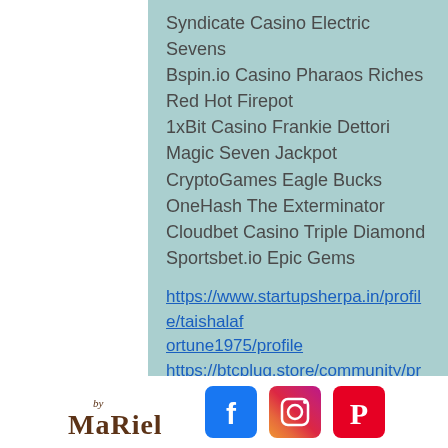Syndicate Casino Electric Sevens
Bspin.io Casino Pharaos Riches Red Hot Firepot
1xBit Casino Frankie Dettori Magic Seven Jackpot
CryptoGames Eagle Bucks
OneHash The Exterminator
Cloudbet Casino Triple Diamond
Sportsbet.io Epic Gems
https://www.startupsherpa.in/profile/taishalaf ortune1975/profile
https://btcplug.store/community/profile/casin oen21449342/
https://worldwidecarpcommunity.com/commu nity/profile/casinoen17041277/
https://convertyourspace.com/groups/free-slot-machines-with-free-spins-and-bonus-slot-canyon-hikes-zion-national-park/
[Figure (logo): byMaRiel logo and social media icons (Facebook, Instagram, Pinterest)]